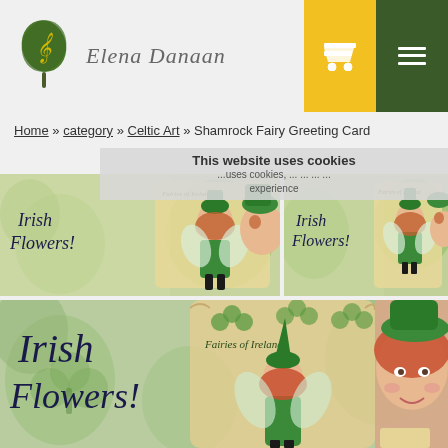[Figure (screenshot): Elena Danaan website header with logo (green leaf with treble clef), site name 'Elena Danaan' in italic serif, yellow cart button and dark green hamburger menu button]
Home » category » Celtic Art » Shamrock Fairy Greeting Card
This website uses cookies
...uses cookies, ... ... ... ... experience
[Figure (photo): Shamrock Fairy greeting card thumbnail showing Irish fairy in green dress with 'Irish Flowers!' text, shamrock background - left card]
[Figure (photo): Shamrock Fairy greeting card thumbnail showing Irish fairy in green dress with 'Irish Flowers!' text, shamrock background - right card]
[Figure (photo): Large Shamrock Fairy greeting card image showing fairy in green dress with shamrocks, 'Fairies of Ireland' scroll text, and 'Irish Flowers!' text in decorative script]